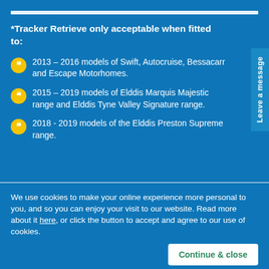*Tracker Retrieve only acceptable when fitted to:
2013 – 2016 models of Swift, Autocruise, Bessacarr and Escape Motorhomes.
2015 – 2019 models of Elddis Marquis Majestic range and Elddis Tyne Valley Signature range.
2018 - 2019 models of the Elddis Preston Supreme range.
We use cookies to make your online experience more personal to you, and so you can enjoy your visit to our website. Read more about it here, or click the button to accept and agree to our use of cookies.